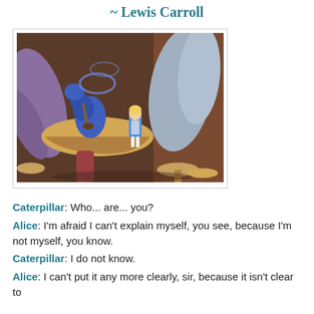~ Lewis Carroll
[Figure (illustration): Disney animation scene showing Alice in a blue dress standing before the blue Caterpillar on a large mushroom in a fantastical forest setting with purple and brown plant-like shapes.]
Caterpillar: Who... are... you?
Alice: I'm afraid I can't explain myself, you see, because I'm not myself, you know.
Caterpillar: I do not know.
Alice: I can't put it any more clearly, sir, because it isn't clear to
Caterpillar: Who... are... you?
Alice: I'm afraid I can't explain myself, you see, because I'm not myself, you know.
Caterpillar: I do not know.
Alice: I can't put it any more clearly, sir, because it isn't clear to